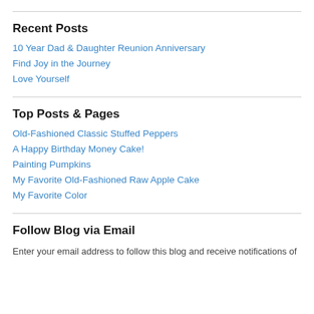Recent Posts
10 Year Dad & Daughter Reunion Anniversary
Find Joy in the Journey
Love Yourself
Top Posts & Pages
Old-Fashioned Classic Stuffed Peppers
A Happy Birthday Money Cake!
Painting Pumpkins
My Favorite Old-Fashioned Raw Apple Cake
My Favorite Color
Follow Blog via Email
Enter your email address to follow this blog and receive notifications of